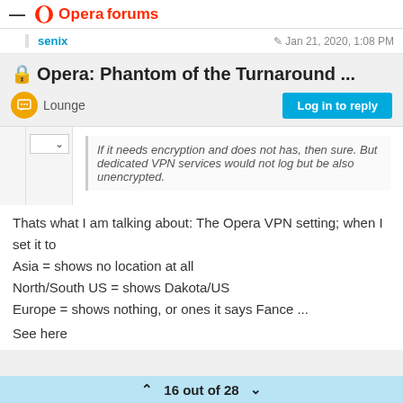Opera forums
senix  Jan 21, 2020, 1:08 PM
Opera: Phantom of the Turnaround ...
Lounge
Log in to reply
If it needs encryption and does not has, then sure. But dedicated VPN services would not log but be also unencrypted.
Thats what I am talking about: The Opera VPN setting; when I set it to
Asia = shows no location at all
North/South US = shows Dakota/US
Europe = shows nothing, or ones it says Fance ...
See here
16 out of 28